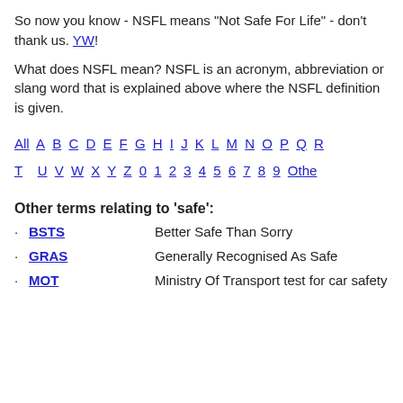So now you know - NSFL means "Not Safe For Life" - don't thank us. YW!
What does NSFL mean? NSFL is an acronym, abbreviation or slang word that is explained above where the NSFL definition is given.
All A B C D E F G H I J K L M N O P Q R T U V W X Y Z 0 1 2 3 4 5 6 7 8 9 Other
Other terms relating to 'safe':
· BSTS   Better Safe Than Sorry
· GRAS   Generally Recognised As Safe
· MOT   Ministry Of Transport test for car safety